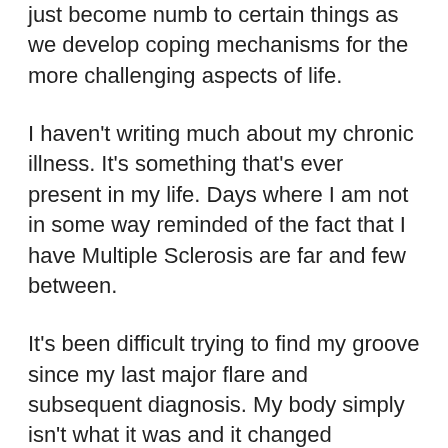just become numb to certain things as we develop coping mechanisms for the more challenging aspects of life.
I haven't writing much about my chronic illness. It's something that's ever present in my life. Days where I am not in some way reminded of the fact that I have Multiple Sclerosis are far and few between.
It's been difficult trying to find my groove since my last major flare and subsequent diagnosis. My body simply isn't what it was and it changed seemingly over night. It will never be what it once was. The damage I've acquired is permanent. While I fully believe that I can have a full life with this disease and it is objectively true that I can “do” far more things than I can not. I still have days where I am not much